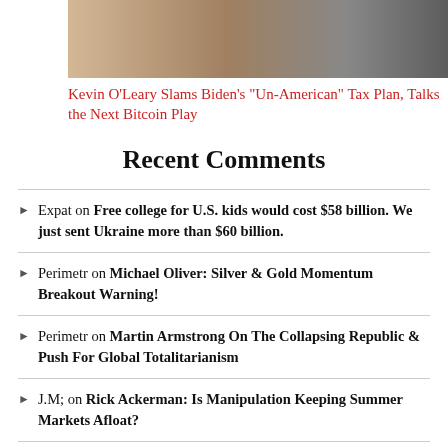[Figure (photo): Photo of Kevin O'Leary with another person in formal attire]
Kevin O'Leary Slams Biden's "Un-American" Tax Plan, Talks the Next Bitcoin Play
Recent Comments
Expat on Free college for U.S. kids would cost $58 billion. We just sent Ukraine more than $60 billion.
Perimetr on Michael Oliver: Silver & Gold Momentum Breakout Warning!
Perimetr on Martin Armstrong On The Collapsing Republic & Push For Global Totalitarianism
J.M; on Rick Ackerman: Is Manipulation Keeping Summer Markets Afloat?
Perimetr on Worldwide silver shortage? A supply crunch may